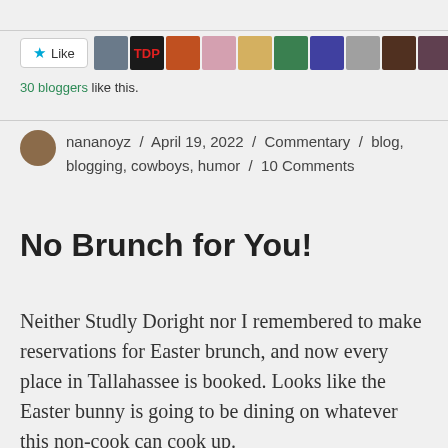[Figure (other): Like button with star icon and a row of blogger avatar thumbnails]
30 bloggers like this.
nananoyz / April 19, 2022 / Commentary / blog, blogging, cowboys, humor / 10 Comments
No Brunch for You!
Neither Studly Doright nor I remembered to make reservations for Easter brunch, and now every place in Tallahassee is booked. Looks like the Easter bunny is going to be dining on whatever this non-cook can cook up.